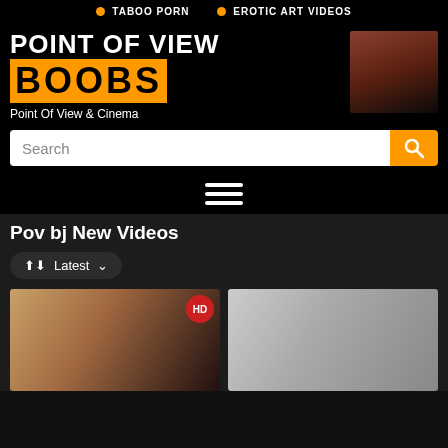TABOO PORN  •  EROTIC ART VIDEOS
POINT OF VIEW BOOBS
Point Of View & Cinema
[Figure (photo): Dark close-up photo]
Search
Pov bj New Videos
Latest
[Figure (photo): Video thumbnail with HD badge]
[Figure (photo): Video thumbnail right]